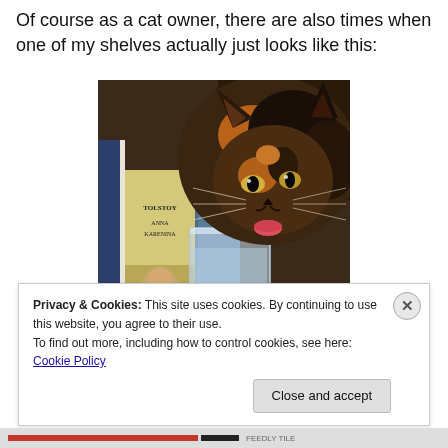Of course as a cat owner, there are also times when one of my shelves actually just looks like this:
[Figure (photo): A tortoiseshell cat licking water from a glass, with books on a shelf in the background including 'Anna Karenina' by Tolstoy]
Privacy & Cookies: This site uses cookies. By continuing to use this website, you agree to their use.
To find out more, including how to control cookies, see here: Cookie Policy